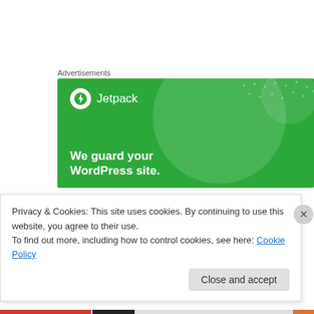Advertisements
[Figure (illustration): Jetpack advertisement banner with green background. Shows Jetpack logo (lightning bolt in circle) with text 'Jetpack' and tagline 'We guard your WordPress site.']
Mattias on October 17, 2014 at 12:26 am
Privacy & Cookies: This site uses cookies. By continuing to use this website, you agree to their use.
To find out more, including how to control cookies, see here: Cookie Policy